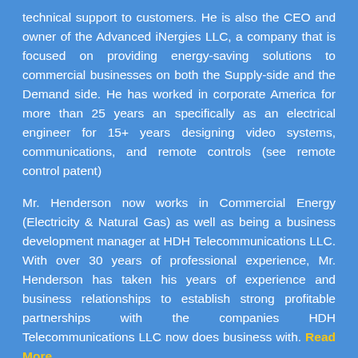technical support to customers. He is also the CEO and owner of the Advanced iNergies LLC, a company that is focused on providing energy-saving solutions to commercial businesses on both the Supply-side and the Demand side. He has worked in corporate America for more than 25 years an specifically as an electrical engineer for 15+ years designing video systems, communications, and remote controls (see remote control patent)
Mr. Henderson now works in Commercial Energy (Electricity & Natural Gas) as well as being a business development manager at HDH Telecommunications LLC. With over 30 years of professional experience, Mr. Henderson has taken his years of experience and business relationships to establish strong profitable partnerships with the companies HDH Telecommunications LLC now does business with. Read More...